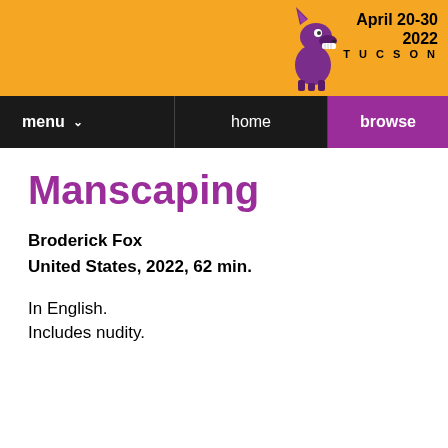[Figure (logo): Arizona International Film Festival header with orange background, coyote mascot logo, and date April 20-30 2022 Tucson]
[Figure (screenshot): Navigation bar with menu, home, and browse buttons on dark background]
Manscaping
Broderick Fox
United States, 2022, 62 min.
In English.
Includes nudity.